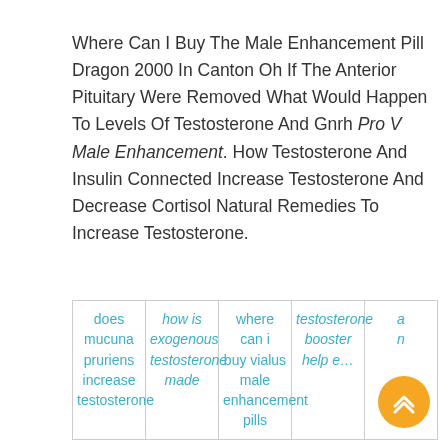Where Can I Buy The Male Enhancement Pill Dragon 2000 In Canton Oh If The Anterior Pituitary Were Removed What Would Happen To Levels Of Testosterone And Gnrh Pro V Male Enhancement. How Testosterone And Insulin Connected Increase Testosterone And Decrease Cortisol Natural Remedies To Increase Testosterone.
| does mucuna pruriens increase testosterone | how is exogenous testosterone made | where can i buy vialus male enhancement pills | testosterone booster help e… | a n |